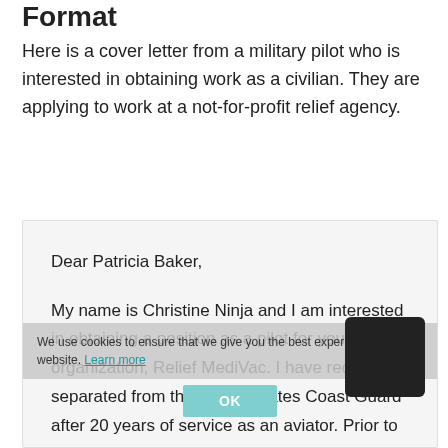Format
Here is a cover letter from a military pilot who is interested in obtaining work as a civilian. They are applying to work at a not-for-profit relief agency.
Dear Patricia Baker,

My name is Christine Ninja and I am interested in obtaining a position as a pilot for your organization, Relief MediVac. I have recently separated from the United States Coast Guard after 20 years of service as an aviator. Prior to receiving my officer's commission, I received a Bachelor's Degree in Aviation from Embry-Riddle University, where I was the recipient of